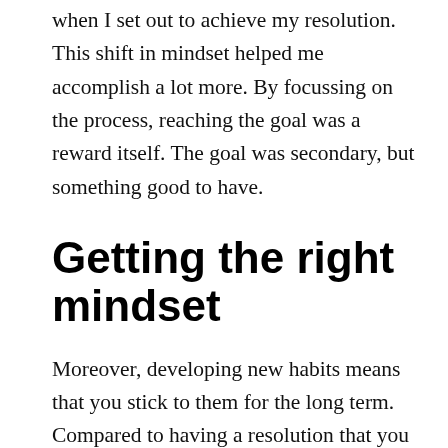when I set out to achieve my resolution. This shift in mindset helped me accomplish a lot more. By focussing on the process, reaching the goal was a reward itself. The goal was secondary, but something good to have.
Getting the right mindset
Moreover, developing new habits means that you stick to them for the long term. Compared to having a resolution that you complete in a year, your habits stick with you for as long as you maintain them, which could very well be years or even a lifetime. You might argue that you can set the same